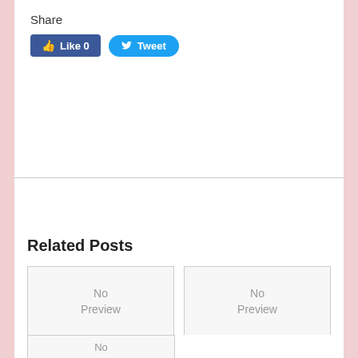Share
[Figure (screenshot): Social sharing buttons: Facebook Like (count 0) and Twitter Tweet button]
Related Posts
[Figure (photo): No Preview placeholder image for post: Where to Call When You Need Emergency Dentistry in Panama City, FL]
Where to Call When You Need Emergency Dentistry in Panama City, FL
[Figure (photo): No Preview placeholder image for post: A Dentist in South Amboy Will Keep Teeth Healthy and Attractive]
A Dentist in South Amboy Will Keep Teeth Healthy and Attractive
[Figure (photo): No Preview placeholder image (partial view at bottom)]